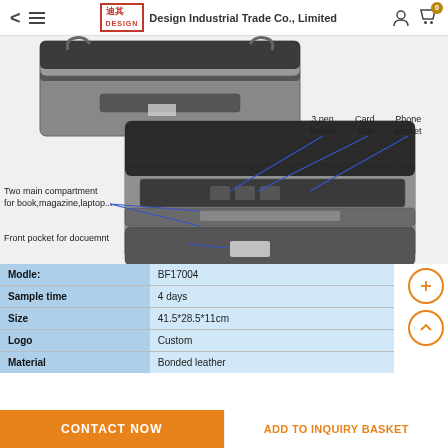Design Industrial Trade Co., Limited
[Figure (photo): Product photo of a black leather briefcase/bag shown open with annotated features: 3 pen holder, Card Slot, Phone pocket, Two main compartment for book, magazine, laptop..., Front pocket for docuemnt]
| Modle: | BF17004 |
| Sample time | 4 days |
| Size | 41.5*28.5*11cm |
| Logo | Custom |
| Material | Bonded leather |
CONTACT NOW | ADD TO INQUIRY BASKET